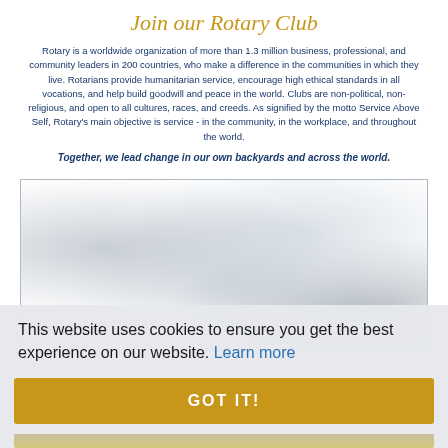Join our Rotary Club
Rotary is a worldwide organization of more than 1.3 million business, professional, and community leaders in 200 countries, who make a difference in the communities in which they live. Rotarians provide humanitarian service, encourage high ethical standards in all vocations, and help build goodwill and peace in the world. Clubs are non-political, non-religious, and open to all cultures, races, and creeds. As signified by the motto Service Above Self, Rotary's main objective is service - in the community, in the workplace, and throughout the world.
Together, we lead change in our own backyards and across the world.
[Figure (photo): Blurred/obscured outdoor photo, likely showing people or a landscape, serving as decorative background image for the Rotary Club page.]
This website uses cookies to ensure you get the best experience on our website. Learn more
GOT IT!